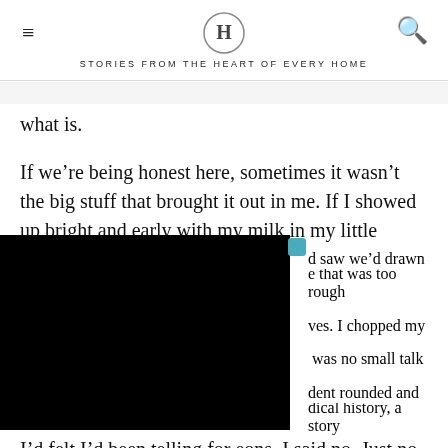H — STORIES FROM THE HEART OF EVERY HOME
what is.
If we're being honest here, sometimes it wasn't the big stuff that brought it out in me. If I showed up bright and early with my milk in my little cooler and new baby
[Figure (photo): Black rectangle obscuring part of the page content, with a small teal/blue element in upper right corner]
d saw we'd drawn e that was too rough ves. I chopped my  was no small talk dent rounded and dical history, a story
I'd felt I'd been telling for eons. I said no. Just no. I was
not the cooperative mother. i was not the team player. I
didn't do it i...